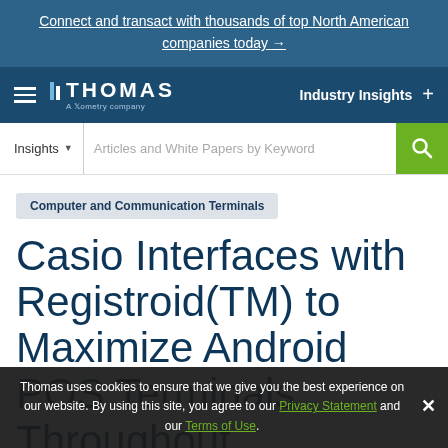Connect and transact with thousands of top North American companies today →
[Figure (logo): Thomas - A Xometry Company logo with hamburger menu and Industry Insights navigation]
Insights ▾   Articles and White Papers by Keyword
Computer and Communication Terminals
Casio Interfaces with Registroid(TM) to Maximize Android POS Terminals Throughout
Thomas uses cookies to ensure that we give you the best experience on our website. By using this site, you agree to our Privacy Statement and our Terms of Use.